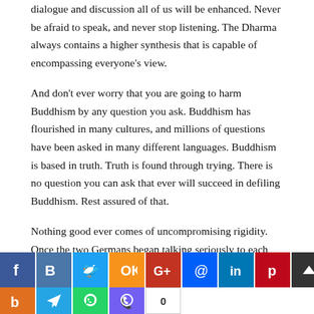dialogue and discussion all of us will be enhanced. Never be afraid to speak, and never stop listening. The Dharma always contains a higher synthesis that is capable of encompassing everyone's view.
And don't ever worry that you are going to harm Buddhism by any question you ask. Buddhism has flourished in many cultures, and millions of questions have been asked in many different languages. Buddhism is based in truth. Truth is found through trying. There is no question you can ask that ever will succeed in defiling Buddhism. Rest assured of that.
Nothing good ever comes of uncompromising rigidity. Once the two Germans began talking seriously to each other, the Berlin wall soon was torn down. If Israel and the Arab states want peace, they too must talk seriously to each other with attitudes of tolerance and mutual acceptance. Every nation in the world must base its government on open discussion, or there will be trouble. The same is true for companies and other organizations.
[Figure (infographic): Social media sharing buttons row: Facebook (blue), VK (blue), Twitter (light blue), Odnoklassniki (orange), Google+ (red), Mail (blue), LinkedIn (blue), Pinterest (red), Copy link (dark). Second row: Blogger (orange), Telegram (blue), WhatsApp (green), Viber (purple), count: 0.]